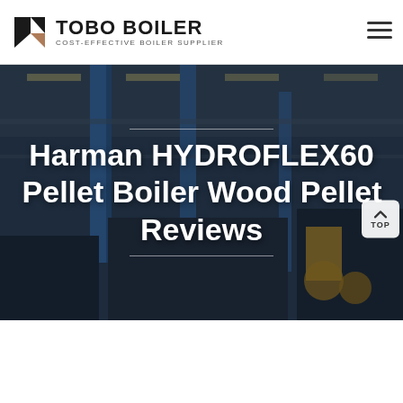TOBO BOILER — COST-EFFECTIVE BOILER SUPPLIER
[Figure (photo): Industrial boiler manufacturing facility interior with large machinery, blue vertical columns, yellow equipment, and overhead lighting]
Harman HYDROFLEX60 Pellet Boiler Wood Pellet Reviews
[Figure (screenshot): WhatsApp contact banner (green), email circle button (blue), Send Message and Inquiry Online bottom navigation bar on dark background]